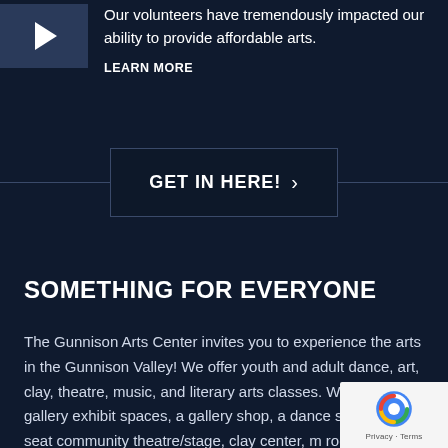[Figure (illustration): Small thumbnail image with a white play button icon on a dark blue background]
Our volunteers have tremendously impacted our ability to provide affordable arts.
LEARN MORE
GET IN HERE!  >
SOMETHING FOR EVERYONE
The Gunnison Arts Center invites you to experience the arts in the Gunnison Valley! We offer youth and adult dance, art, clay, theatre, music, and literary arts classes. We feature gallery exhibit spaces, a gallery shop, a dance studio, 72-seat community theatre/stage, clay center, m rooms and classrooms.
[Figure (logo): Google reCAPTCHA badge with logo and Privacy - Terms text]